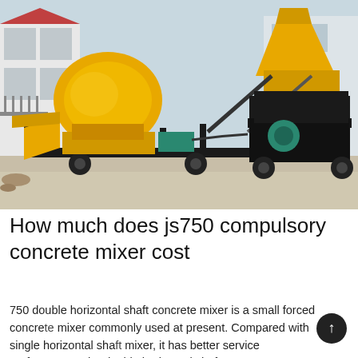[Figure (photo): Photograph of a yellow js750 compulsory concrete mixer machine with a large drum, hopper, and separate pump unit, all mounted on black steel frames, parked on a paved surface in front of a building.]
How much does js750 compulsory concrete mixer cost
750 double horizontal shaft concrete mixer is a small forced concrete mixer commonly used at present. Compared with single horizontal shaft mixer, it has better service performance. The double horizontal shaft